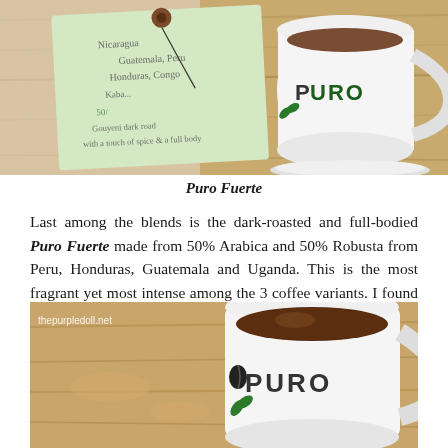[Figure (photo): Top photo showing a handwritten tag/label with coffee blend information (Nicaragua, Guatemala, Peru, Honduras, Congo etc.) and a white PURO branded coffee mug on a wooden surface]
Puro Fuerte
Last among the blends is the dark-roasted and full-bodied Puro Fuerte made from 50% Arabica and 50% Robusta from Peru, Honduras, Guatemala and Uganda. This is the most fragrant yet most intense among the 3 coffee variants. I found it too strong for my liking, but I bet this is the perfect cup for invigorating the strong coffee lovers' senses.
[Figure (photo): Photo of a white PURO branded coffee mug filled with dark brown coffee, on a wooden table. Watermark 'thepurpledoll.net' in top-left corner.]